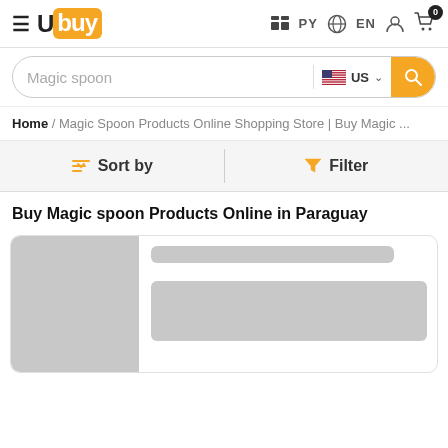Ubuy | PY | EN | Cart: 0
Magic spoon | US
Home / Magic Spoon Products Online Shopping Store | Buy Magic ...
Sort by | Filter
Buy Magic spoon Products Online in Paraguay
[Figure (screenshot): Loading product card with grey image placeholder on the left and grey title/description placeholders on the right]